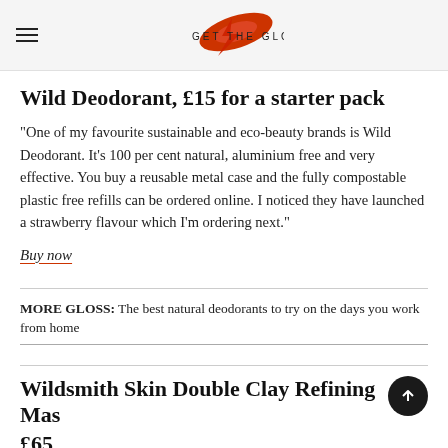GET THE GLOSS
Wild Deodorant, £15 for a starter pack
"One of my favourite sustainable and eco-beauty brands is Wild Deodorant. It's 100 per cent natural, aluminium free and very effective. You buy a reusable metal case and the fully compostable plastic free refills can be ordered online. I noticed they have launched a strawberry flavour which I'm ordering next."
Buy now
MORE GLOSS: The best natural deodorants to try on the days you work from home
Wildsmith Skin Double Clay Refining Mask, £65